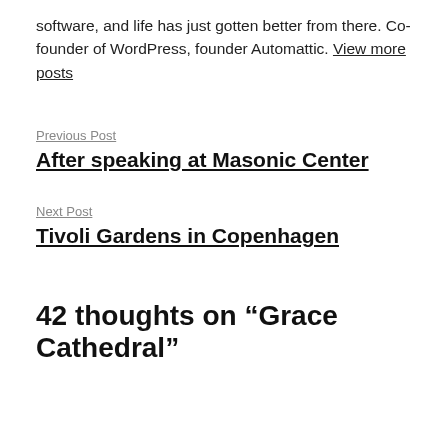software, and life has just gotten better from there. Co-founder of WordPress, founder Automattic. View more posts
Previous Post
After speaking at Masonic Center
Next Post
Tivoli Gardens in Copenhagen
42 thoughts on “Grace Cathedral”